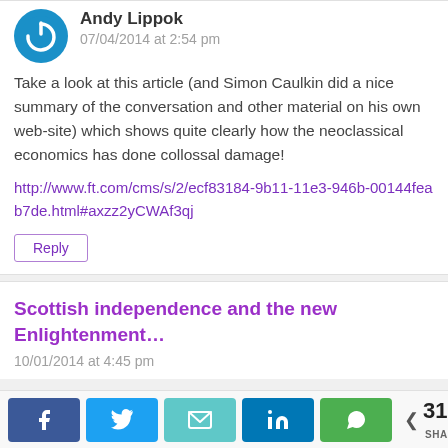[Figure (logo): Circular blue power button icon avatar for user Andy Lippok]
Andy Lippok
07/04/2014 at 2:54 pm
Take a look at this article (and Simon Caulkin did a nice summary of the conversation and other material on his own web-site) which shows quite clearly how the neoclassical economics has done collossal damage!
http://www.ft.com/cms/s/2/ecf83184-9b11-11e3-946b-00144feab7de.html#axzz2yCWAf3qj
Reply
Scottish independence and the new Enlightenment…
10/01/2014 at 4:45 pm